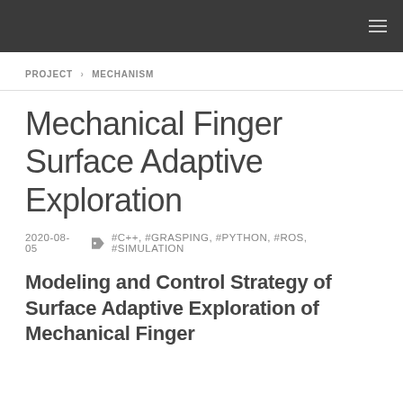≡
PROJECT > MECHANISM
Mechanical Finger Surface Adaptive Exploration
2020-08-05  🏷 #C++, #GRASPING, #PYTHON, #ROS, #SIMULATION
Modeling and Control Strategy of Surface Adaptive Exploration of Mechanical Finger